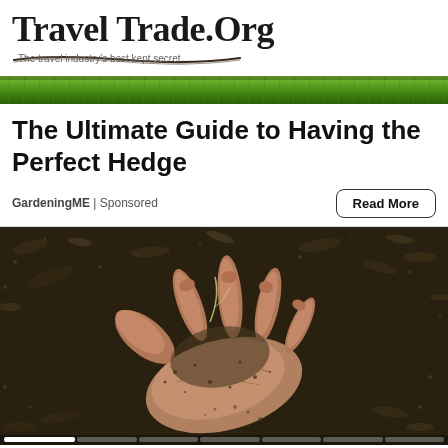Travel Trade.Org — The travel industry's best kept secret
[Figure (photo): Green grass banner/advertisement strip]
The Ultimate Guide to Having the Perfect Hedge
GardeningME | Sponsored
[Figure (photo): A hand holding soil/compost with seeds, surrounded by dark earthy ground. Image has a dark, moody tone.]